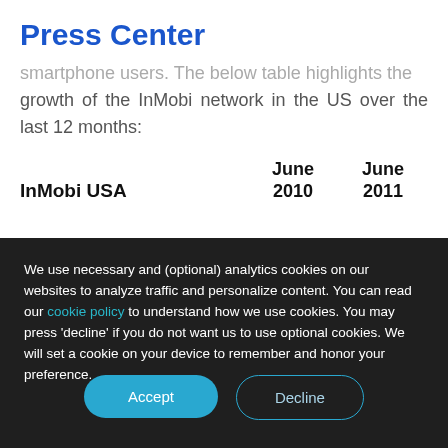Press Center
smartphone users. The below table highlights the growth of the InMobi network in the US over the last 12 months:
| InMobi USA | June 2010 | June 2011 |
| --- | --- | --- |
We use necessary and (optional) analytics cookies on our websites to analyze traffic and personalize content. You can read our cookie policy to understand how we use cookies. You may press 'decline' if you do not want us to use optional cookies. We will set a cookie on your device to remember and honor your preference.